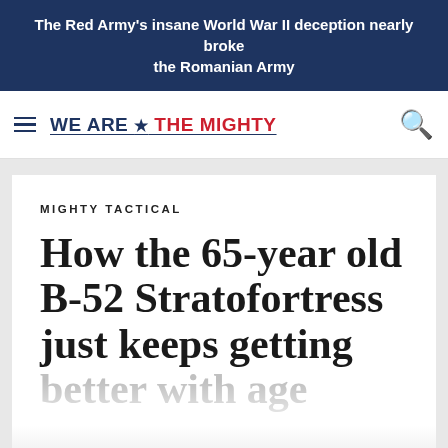The Red Army's insane World War II deception nearly broke the Romanian Army
[Figure (logo): We Are The Mighty website logo with hamburger menu icon and search icon]
MIGHTY TACTICAL
How the 65-year old B-52 Stratofortress just keeps getting better with age